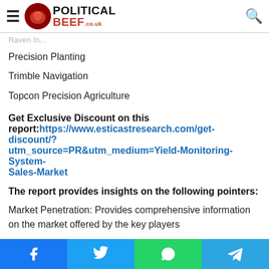Political Beef logo header with hamburger menu and search icon
Precision Planting
Trimble Navigation
Topcon Precision Agriculture
Get Exclusive Discount on this report: https://www.esticastresearch.com/get-discount/?utm_source=PR&utm_medium=Yield-Monitoring-System-Sales-Market
The report provides insights on the following pointers:
Market Penetration: Provides comprehensive information on the market offered by the key players